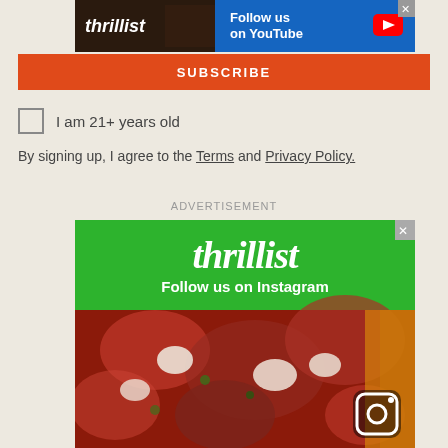[Figure (screenshot): Thrillist advertisement banner - Follow us on YouTube, dark background with blue YouTube section]
SUBSCRIBE
I am 21+ years old
By signing up, I agree to the Terms and Privacy Policy.
ADVERTISEMENT
[Figure (screenshot): Thrillist advertisement - Follow us on Instagram, green banner with pizza food photo and Instagram icon]